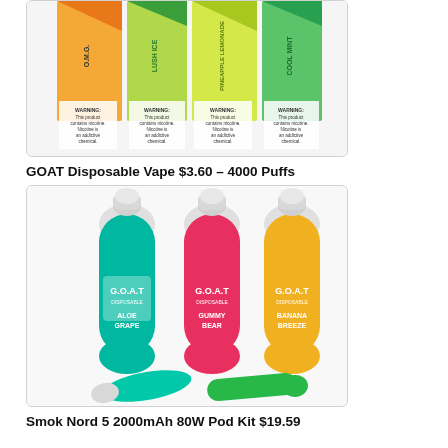[Figure (photo): Multiple colorful disposable vape device boxes standing side by side showing WARNING labels about nicotine. Flavors visible include O.M.G., Lush Ice, Pineapple Lemonade, Cool Mint.]
GOAT Disposable Vape $3.60 – 4000 Puffs
[Figure (photo): Three G.O.A.T. branded disposable vape devices in teal/Aloe Grape, pink/Gummy Bear, and yellow/Banana Breeze colors, shaped like rounded bottles, some lying on their sides.]
Smok Nord 5 2000mAh 80W Pod Kit $19.59